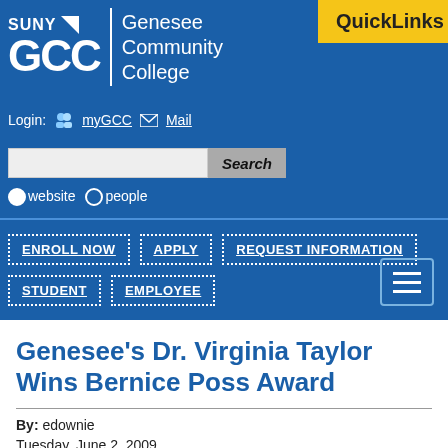[Figure (logo): SUNY GCC Genesee Community College logo with QuickLinks button]
Login: myGCC Mail
Search (website / people radio buttons)
ENROLL NOW | APPLY | REQUEST INFORMATION | STUDENT | EMPLOYEE
Genesee's Dr. Virginia Taylor Wins Bernice Poss Award
By: edownie
Tuesday, June 2, 2009